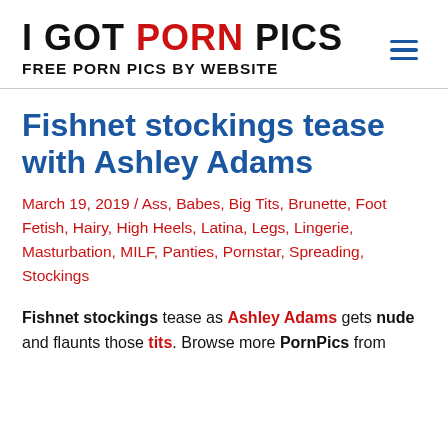I GOT PORN PICS FREE PORN PICS BY WEBSITE
Fishnet stockings tease with Ashley Adams
March 19, 2019 / Ass, Babes, Big Tits, Brunette, Foot Fetish, Hairy, High Heels, Latina, Legs, Lingerie, Masturbation, MILF, Panties, Pornstar, Spreading, Stockings
Fishnet stockings tease as Ashley Adams gets nude and flaunts those tits. Browse more PornPics from